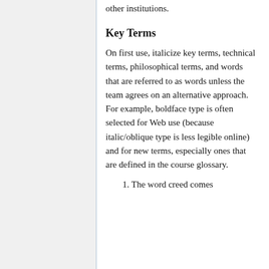other institutions.
Key Terms
On first use, italicize key terms, technical terms, philosophical terms, and words that are referred to as words unless the team agrees on an alternative approach. For example, boldface type is often selected for Web use (because italic/oblique type is less legible online) and for new terms, especially ones that are defined in the course glossary.
1. The word creed comes